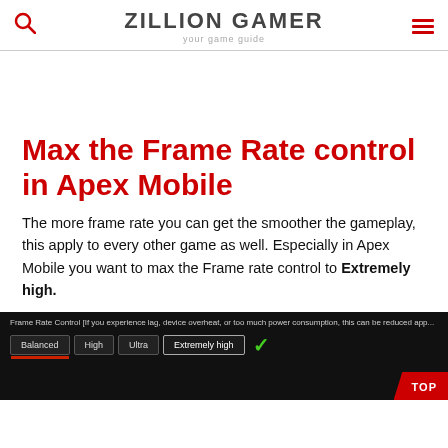ZILLION GAMER — your game guide
Max the Frame Rate control in Apex Mobile
The more frame rate you can get the smoother the gameplay, this apply to every other game as well. Especially in Apex Mobile you want to max the Frame rate control to Extremely high.
[Figure (screenshot): Screenshot of Apex Mobile Frame Rate Control settings screen showing buttons: Balanced, High, Ultra, Extremely high (selected with checkmark). Text reads: Frame Rate Control [If you experience lag, device overheat, or too much power consumption, this can be reduced app...]]